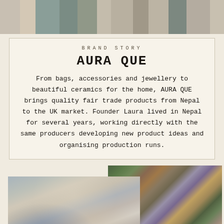[Figure (photo): Top banner photo showing colorful fabric swatches or textile samples in various muted tones]
BRAND STORY
AURA QUE
From bags, accessories and jewellery to beautiful ceramics for the home, AURA QUE brings quality fair trade products from Nepal to the UK market. Founder Laura lived in Nepal for several years, working directly with the same producers developing new product ideas and organising production runs.
[Figure (photo): Two overlapping photos: left shows workers at sewing machines in a workshop; right shows colorful craft supplies, yarn, and design materials on a table]